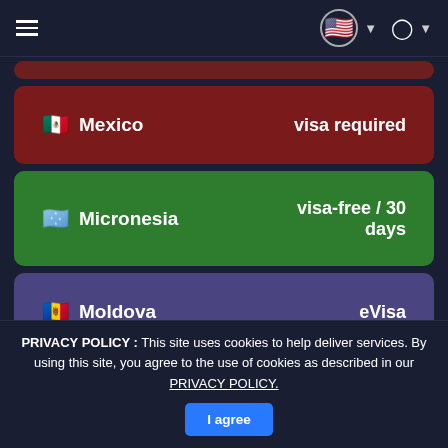Navigation bar with hamburger menu, US flag, and user icon
Mexico — visa required
Micronesia — visa-free / 30 days
Moldova — eVisa
Monaco — visa required
visa-free / 30 (partial, cut off)
PRIVACY POLICY : This site uses cookies to help deliver services. By using this site, you agree to the use of cookies as described in our PRIVACY POLICY. I agree